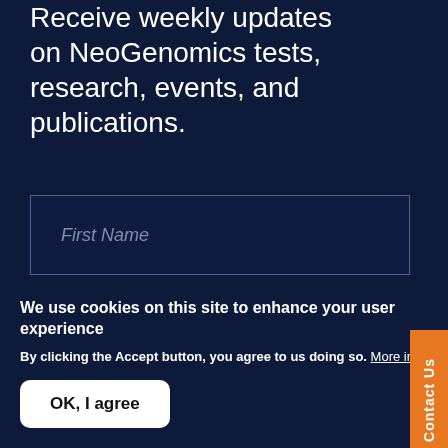Receive weekly updates on NeoGenomics tests, research, events, and publications.
First Name
Last Name
Email
Contact Us
We use cookies on this site to enhance your user experience
By clicking the Accept button, you agree to us doing so. More info
OK, I agree